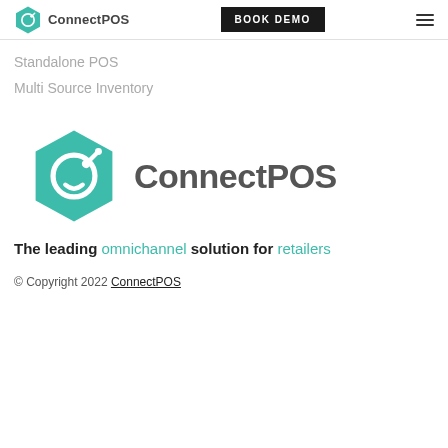ConnectPOS | BOOK DEMO
Standalone POS
Multi Source Inventory
[Figure (logo): ConnectPOS logo — teal hexagon with stylized G/target icon and 'ConnectPOS' wordmark in grey]
The leading omnichannel solution for retailers
© Copyright 2022 ConnectPOS